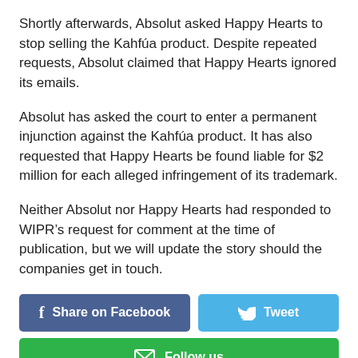Shortly afterwards, Absolut asked Happy Hearts to stop selling the Kahfúa product. Despite repeated requests, Absolut claimed that Happy Hearts ignored its emails.
Absolut has asked the court to enter a permanent injunction against the Kahfúa product. It has also requested that Happy Hearts be found liable for $2 million for each alleged infringement of its trademark.
Neither Absolut nor Happy Hearts had responded to WIPR's request for comment at the time of publication, but we will update the story should the companies get in touch.
[Figure (other): Share on Facebook button, Tweet button, and Follow us button]